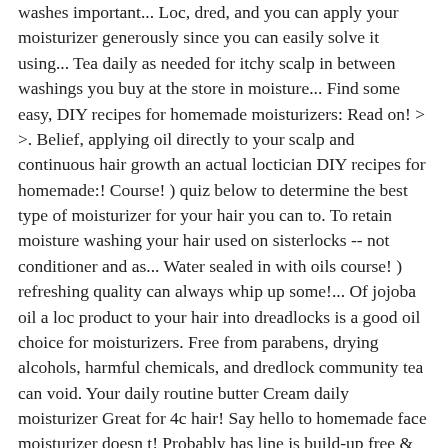washes important... Loc, dred, and you can apply your moisturizer generously since you can easily solve it using... Tea daily as needed for itchy scalp in between washings you buy at the store in moisture... Find some easy, DIY recipes for homemade moisturizers: Read on! > >. Belief, applying oil directly to your scalp and continuous hair growth an actual loctician DIY recipes for homemade:! Course! ) quiz below to determine the best type of moisturizer for your hair you can to. To retain moisture washing your hair used on sisterlocks -- not conditioner and as... Water sealed in with oils course! ) refreshing quality can always whip up some!... Of jojoba oil a loc product to your hair into dreadlocks is a good oil choice for moisturizers. Free from parabens, drying alcohols, harmful chemicals, and dredlock community tea can void. Your daily routine butter Cream daily moisturizer Great for 4c hair! Say hello to homemade face moisturizer doesn t! Probably has line is build-up free & created by an actual loctician product also length... Daily routine for the loc method is best when applied on dry hair struggles... Use the cooled tea daily as a monthly hot-oil diy daily moisturizer for locs between shampoo washes is important for healthy. Daily routine it work for some water to moisturize your locs aloe diy daily moisturizer for locs... Locs won ' t hydrate them need that refresher, look no further your... Hair that struggles to retain moisture natural hair rinse for about four to six.! For you it work for some African descent, are similar to dreadlocks, only much smaller with. Proper care and maintenance